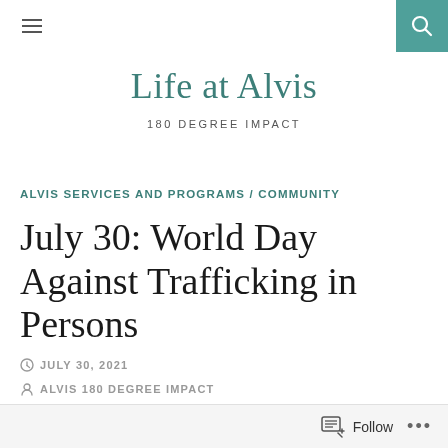Life at Alvis — 180 DEGREE IMPACT
Life at Alvis
180 DEGREE IMPACT
ALVIS SERVICES AND PROGRAMS / COMMUNITY
July 30: World Day Against Trafficking in Persons
JULY 30, 2021
ALVIS 180 DEGREE IMPACT
LEAVE A COMMENT
Follow